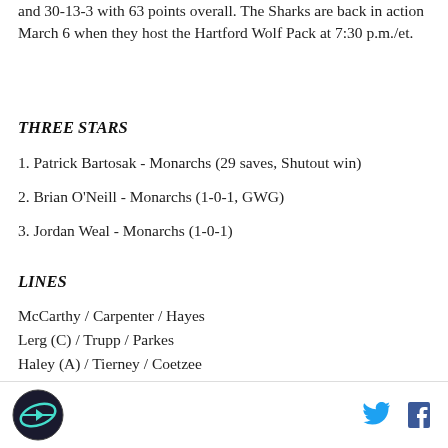and 30-13-3 with 63 points overall. The Sharks are back in action March 6 when they host the Hartford Wolf Pack at 7:30 p.m./et.
THREE STARS
1. Patrick Bartosak - Monarchs (29 saves, Shutout win)
2. Brian O'Neill - Monarchs (1-0-1, GWG)
3. Jordan Weal - Monarchs (1-0-1)
LINES
McCarthy / Carpenter / Hayes
Lerg (C) / Trupp / Parkes
Haley (A) / Tierney / Coetzee
Schwartz / Oleksuk / Hamilton
[Figure (screenshot): Partial video player bar visible at bottom of content area]
Site logo and social media icons (Twitter, Facebook)